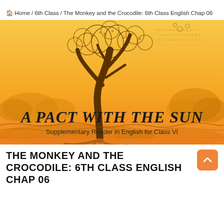🏠 Home / 6th Class / The Monkey and the Crocodile: 6th Class English Chap 06
[Figure (illustration): Illustration of a large tree with spreading roots and branches against a yellow-orange gradient sky background, with text 'A PACT WITH THE SUN' in bold decorative font and subtitle 'Supplementary Reader in English for Class VI']
THE MONKEY AND THE CROCODILE: 6TH CLASS ENGLISH CHAP 06